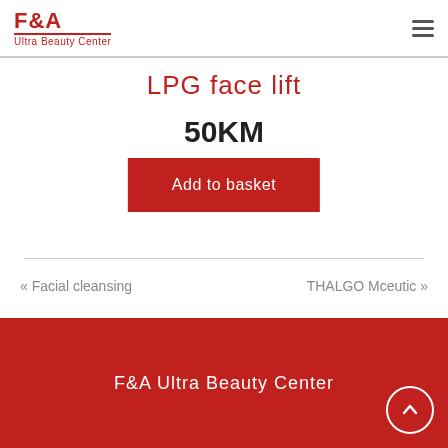F&A Ultra Beauty Center
LPG face lift
50KM
Add to basket
« Facial cleansing
THALGO Mceutic »
F&A Ultra Beauty Center